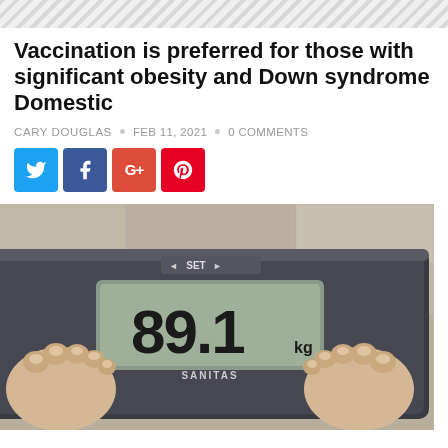Vaccination is preferred for those with significant obesity and Down syndrome Domestic
CARY DOUGLAS · FEB 11, 2021 · 0 COMMENTS
[Figure (infographic): Social media share buttons: Twitter (blue), Facebook (dark blue/purple), Google+ (red-orange), Pinterest (red)]
[Figure (photo): Close-up photo of a person's feet standing on a digital bathroom scale (SANITAS brand) displaying 89.1 kg, with a stone/tile floor in the background]